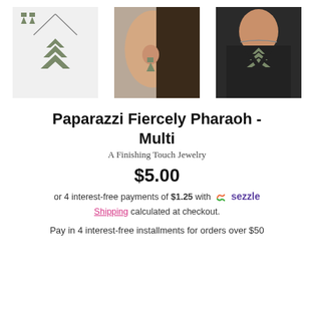[Figure (photo): Three product photos: jewelry set flat lay (necklace and earrings), close-up of earring on model, model wearing necklace]
Paparazzi Fiercely Pharaoh - Multi
A Finishing Touch Jewelry
$5.00
or 4 interest-free payments of $1.25 with Sezzle
Shipping calculated at checkout.
Pay in 4 interest-free installments for orders over $50